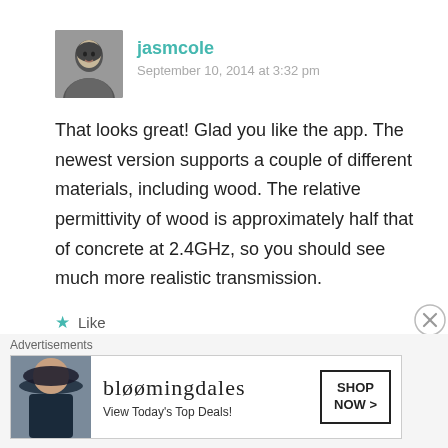[Figure (photo): User avatar photo of jasmcole, black and white portrait of a young man]
jasmcole
September 10, 2014 at 3:32 pm
That looks great! Glad you like the app. The newest version supports a couple of different materials, including wood. The relative permittivity of wood is approximately half that of concrete at 2.4GHz, so you should see much more realistic transmission.
Like
Reply
[Figure (screenshot): Bloomingdales advertisement banner: 'View Today's Top Deals!' with SHOP NOW > button and model wearing wide-brim hat]
Advertisements